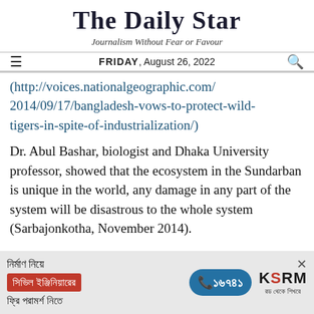The Daily Star
Journalism Without Fear or Favour
FRIDAY, August 26, 2022
(http://voices.nationalgeographic.com/2014/09/17/bangladesh-vows-to-protect-wild-tigers-in-spite-of-industrialization/)
Dr. Abul Bashar, biologist and Dhaka University professor, showed that the ecosystem in the Sundarban is unique in the world, any damage in any part of the system will be disastrous to the whole system (Sarbajonkotha, November 2014).
[Figure (other): Advertisement banner for KSRM civil engineering consultation in Bengali with phone number 16741]